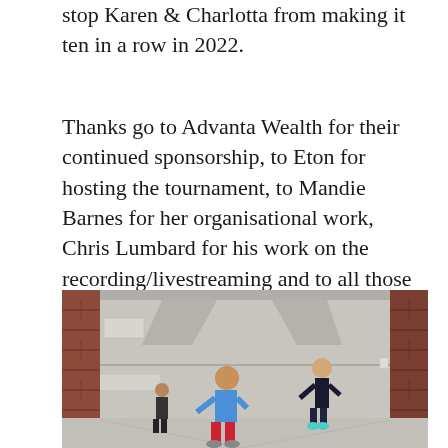stop Karen & Charlotta from making it ten in a row in 2022.
Thanks go to Advanta Wealth for their continued sponsorship, to Eton for hosting the tournament, to Mandie Barnes for her organisational work, Chris Lumbard for his work on the recording/livestreaming and to all those who played in this year's tournament
[Figure (photo): Two players playing a fives or handball game inside a stone-walled court with brick pillars/buttresses on the sides. One player is closer, wearing a blue shirt and red shorts; the other is further away wearing dark clothing. The court walls are light grey/stone coloured.]